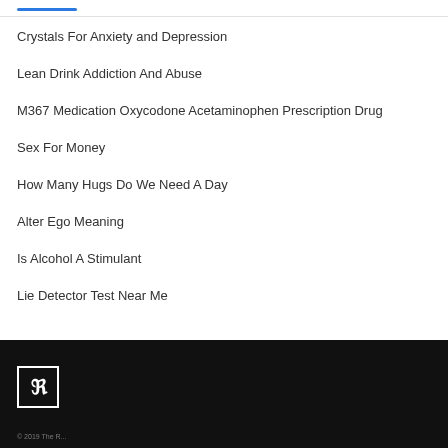Crystals For Anxiety and Depression
Lean Drink Addiction And Abuse
M367 Medication Oxycodone Acetaminophen Prescription Drug
Sex For Money
How Many Hugs Do We Need A Day
Alter Ego Meaning
Is Alcohol A Stimulant
Lie Detector Test Near Me
© 2019 The R...